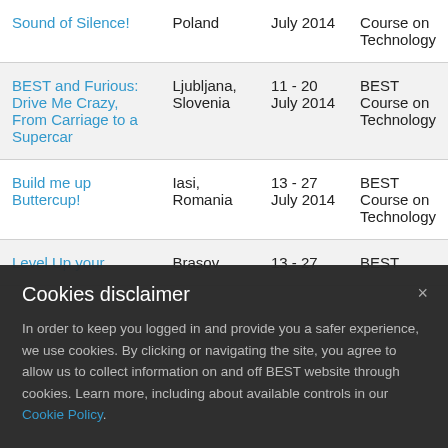| Title | Location | Dates | Type |
| --- | --- | --- | --- |
| Sound of Silence! | Poland | July 2014 | Course on Technology |
| BEST and Furious: Drive Me Crazy, From Carriage to a Supercar | Ljubljana, Slovenia | 11 - 20 July 2014 | BEST Course on Technology |
| Build me up Buttercup! | Iasi, Romania | 13 - 27 July 2014 | BEST Course on Technology |
| Level Up your... | Brasov | 13 - 27 | BEST |
Cookies disclaimer

In order to keep you logged in and provide you a safer experience, we use cookies. By clicking or navigating the site, you agree to allow us to collect information on and off BEST website through cookies. Learn more, including about available controls in our Cookie Policy.